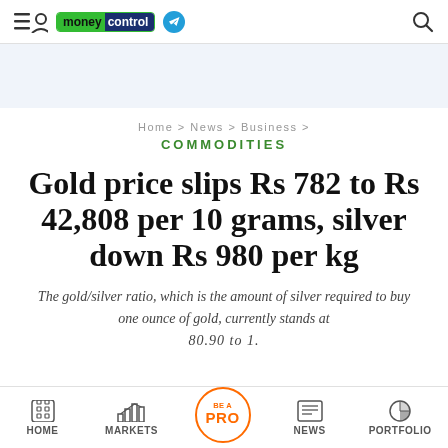moneycontrol
Home > News > Business >
COMMODITIES
Gold price slips Rs 782 to Rs 42,808 per 10 grams, silver down Rs 980 per kg
The gold/silver ratio, which is the amount of silver required to buy one ounce of gold, currently stands at 80.90 to 1.
HOME | MARKETS | BE A PRO | NEWS | PORTFOLIO